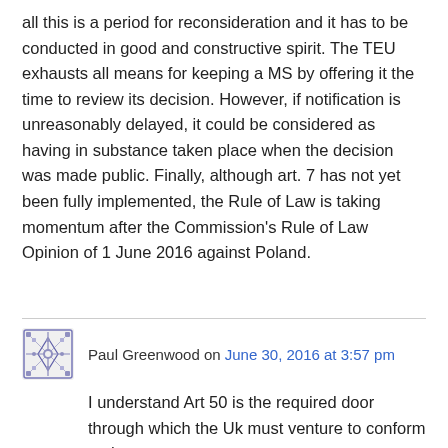all this is a period for reconsideration and it has to be conducted in good and constructive spirit. The TEU exhausts all means for keeping a MS by offering it the time to review its decision. However, if notification is unreasonably delayed, it could be considered as having in substance taken place when the decision was made public. Finally, although art. 7 has not yet been fully implemented, the Rule of Law is taking momentum after the Commission's Rule of Law Opinion of 1 June 2016 against Poland.
Paul Greenwood on June 30, 2016 at 3:57 pm
I understand Art 50 is the required door through which the Uk must venture to conform to the